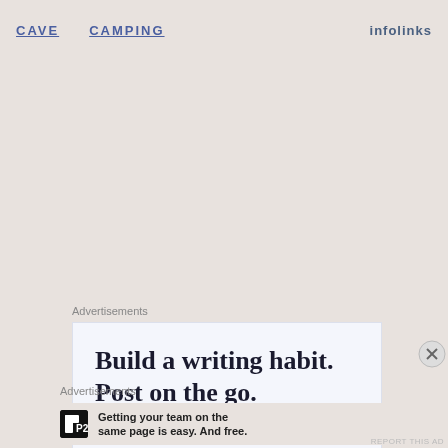CAVE   CAMPING   infolinks
Advertisements
[Figure (screenshot): WordPress mobile app advertisement: 'Build a writing habit. Post on the go.' with GET THE APP link and WordPress logo]
Advertisements
P2 — Getting your team on the same page is easy. And free.